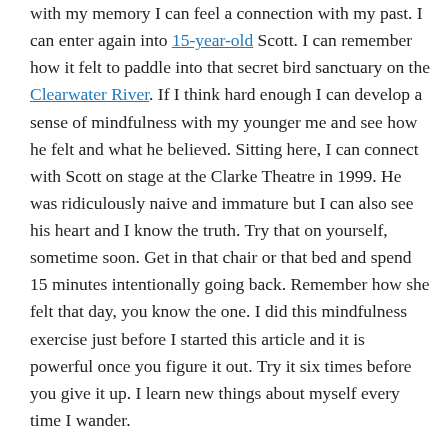with my memory I can feel a connection with my past. I can enter again into 15-year-old Scott. I can remember how it felt to paddle into that secret bird sanctuary on the Clearwater River. If I think hard enough I can develop a sense of mindfulness with my younger me and see how he felt and what he believed. Sitting here, I can connect with Scott on stage at the Clarke Theatre in 1999. He was ridiculously naive and immature but I can also see his heart and I know the truth. Try that on yourself, sometime soon. Get in that chair or that bed and spend 15 minutes intentionally going back. Remember how she felt that day, you know the one. I did this mindfulness exercise just before I started this article and it is powerful once you figure it out. Try it six times before you give it up. I learn new things about myself every time I wander.

There is a profound wisdom to be found in your own story if